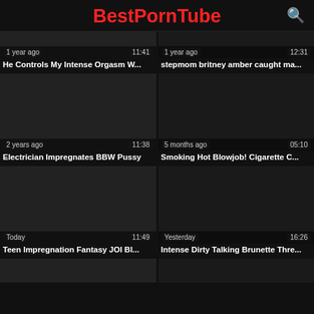BestPornTube
[Figure (screenshot): Video thumbnail dark, 1 year ago, 11:41]
[Figure (screenshot): Video thumbnail dark, 1 year ago, 12:31]
He Controls My Intense Orgasm W...
stepmom britney amber caught ma...
[Figure (screenshot): Video thumbnail dark, 2 years ago, 11:38]
[Figure (screenshot): Video thumbnail dark, 5 months ago, 05:10]
Electrician Impregnates BBW Pussy
Smoking Hot Blowjob! Cigarette C...
[Figure (screenshot): Video thumbnail dark, Today, 11:49]
[Figure (screenshot): Video thumbnail dark, Yesterday, 16:26]
Teen Impregnation Fantasy JOI Bl...
Intense Dirty Talking Brunette Thre...